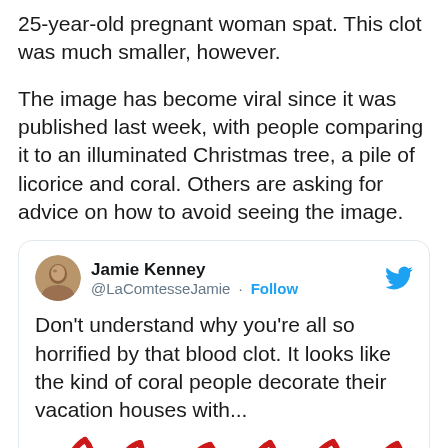25-year-old pregnant woman spat. This clot was much smaller, however.
The image has become viral since it was published last week, with people comparing it to an illuminated Christmas tree, a pile of licorice and coral. Others are asking for advice on how to avoid seeing the image.
[Figure (screenshot): Tweet from Jamie Kenney (@LaComtesseJamie) with Follow button and Twitter bird logo. Tweet text: Don't understand why you're all so horrified by that blood clot. It looks like the kind of coral people decorate their vacation houses with... Followed by a partial image of red and white coral pattern.]